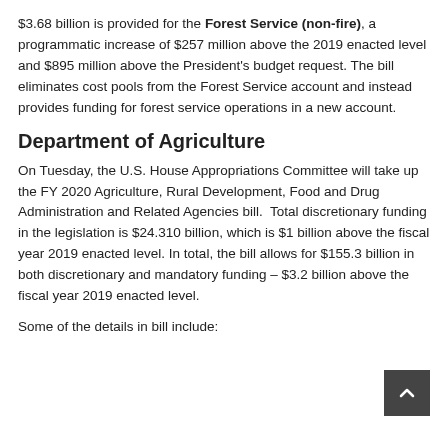$3.68 billion is provided for the Forest Service (non-fire), a programmatic increase of $257 million above the 2019 enacted level and $895 million above the President's budget request. The bill eliminates cost pools from the Forest Service account and instead provides funding for forest service operations in a new account.
Department of Agriculture
On Tuesday, the U.S. House Appropriations Committee will take up the FY 2020 Agriculture, Rural Development, Food and Drug Administration and Related Agencies bill.  Total discretionary funding in the legislation is $24.310 billion, which is $1 billion above the fiscal year 2019 enacted level. In total, the bill allows for $155.3 billion in both discretionary and mandatory funding – $3.2 billion above the fiscal year 2019 enacted level.
Some of the details in bill include: